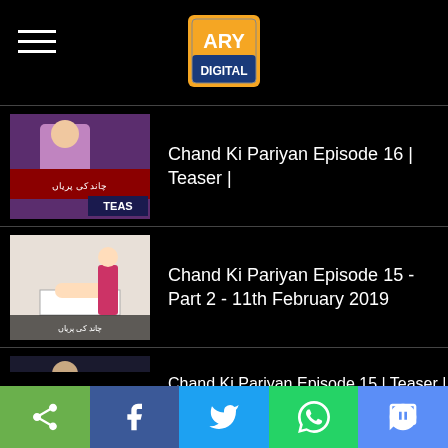[Figure (logo): ARY Digital logo - orange and blue square logo with 'ARY DIGITAL' text]
[Figure (screenshot): Thumbnail for Chand Ki Pariyan Episode 16 Teaser - shows female character with TEAS overlay]
Chand Ki Pariyan Episode 16 | Teaser |
[Figure (screenshot): Thumbnail for Chand Ki Pariyan Episode 15 Part 2 - shows hospital scene]
Chand Ki Pariyan Episode 15 - Part 2 - 11th February 2019
[Figure (screenshot): Thumbnail for Chand Ki Pariyan Episode 15 Part 1 - shows male character]
Chand Ki Pariyan Episode 15 - Part 1 - 11th February 2019
Chand Ki Pariyan Episode 15 | Teaser |